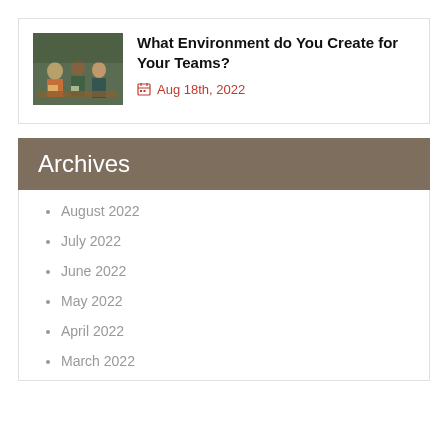[Figure (photo): People working together around a table in a café or workshop setting]
What Environment do You Create for Your Teams?
Aug 18th, 2022
Archives
August 2022
July 2022
June 2022
May 2022
April 2022
March 2022